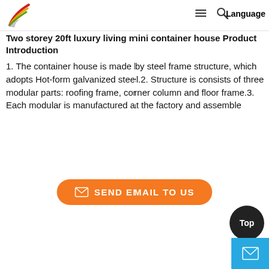Language
Two storey 20ft luxury living mini container house Product Introduction
1. The container house is made by steel frame structure, which adopts Hot-form galvanized steel.2. Structure is consists of three modular parts: roofing frame, corner column and floor frame.3. Each modular is manufactured at the factory and assemble
[Figure (other): Orange rounded button with envelope icon and text SEND EMAIL TO US]
[Figure (other): Dark circular Top button and light blue mail icon box in bottom right corner]